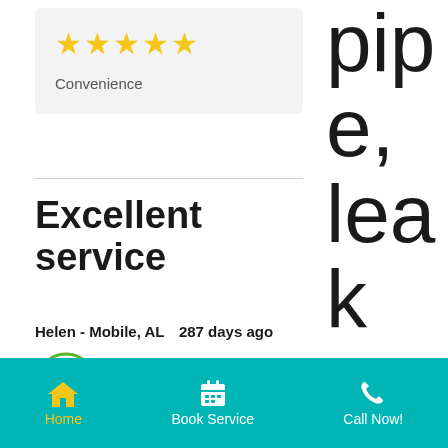[Figure (other): Five yellow star rating icons]
Convenience
Excellent service
Helen - Mobile, AL  287 days ago
[Figure (illustration): Green circle with wheelchair accessibility icon]
Review of
pip e, lea k at wa ter me
Home  Book Service  Call Now!